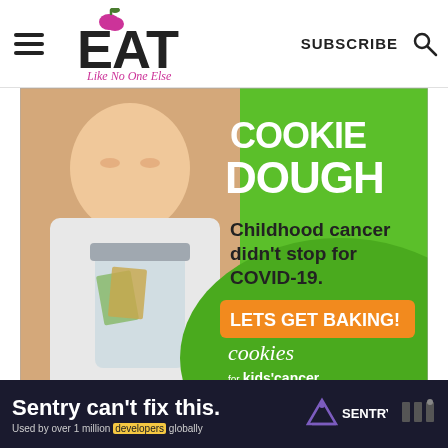EAT Like No One Else | SUBSCRIBE
[Figure (photo): Cookies for Kids' Cancer advertisement showing a smiling girl holding a jar of money, with green background. Text reads: COOKIE DOUGH - Childhood cancer didn't stop for COVID-19. LETS GET BAKING! cookies for kids' cancer]
[Figure (screenshot): Bottom advertisement strip: Sentry can't fix this. Used by over 1 million developers globally. Sentry logo shown on dark background.]